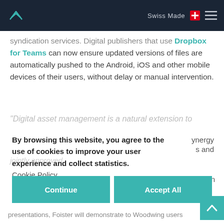Swiss Made
syndication services. Digital publishers that use Dropbox for Teams can now ensure updated versions of files are automatically pushed to the Android, iOS and other mobile devices of their users, without delay or manual intervention.
"Digital asset management is a natural extension to workflow publishing workflows. Foister enables...
By browsing this website, you agree to the use of cookies to improve your user experience and collect statistics.
Cookie Policy
...energy
...s and ...jointly approved
...ion
presentations, Foister will demonstrate to Woodwing users